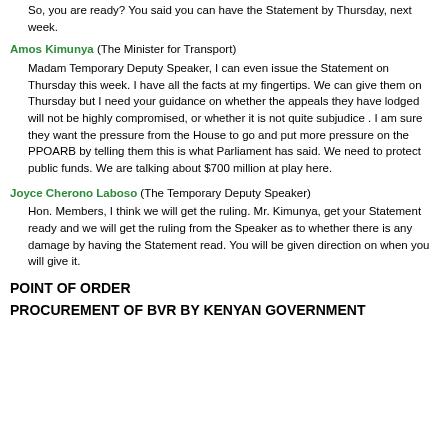So, you are ready? You said you can have the Statement by Thursday, next week.
Amos Kimunya (The Minister for Transport)
Madam Temporary Deputy Speaker, I can even issue the Statement on Thursday this week. I have all the facts at my fingertips. We can give them on Thursday but I need your guidance on whether the appeals they have lodged will not be highly compromised, or whether it is not quite subjudice . I am sure they want the pressure from the House to go and put more pressure on the PPOARB by telling them this is what Parliament has said. We need to protect public funds. We are talking about $700 million at play here.
Joyce Cherono Laboso (The Temporary Deputy Speaker)
Hon. Members, I think we will get the ruling. Mr. Kimunya, get your Statement ready and we will get the ruling from the Speaker as to whether there is any damage by having the Statement read. You will be given direction on when you will give it.
POINT OF ORDER
PROCUREMENT OF BVR BY KENYAN GOVERNMENT